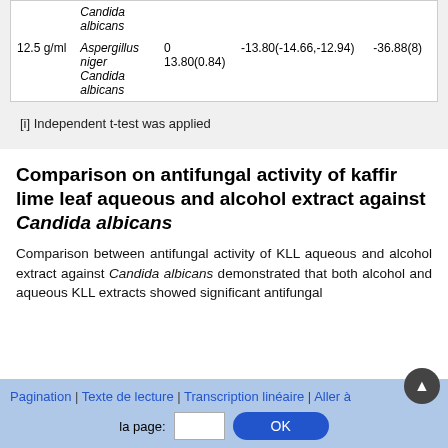|  | Organism |  | Mean difference (95% CI) |  |
| --- | --- | --- | --- | --- |
|  | Candida albicans |  |  |  |
| 12.5 g/ml | Aspergillus niger | 0 | -13.80(-14.66,-12.94) | -36.88(8) |
|  | Candida albicans | 13.80(0.84) |  |  |
[i] Independent t-test was applied
Comparison on antifungal activity of kaffir lime leaf aqueous and alcohol extract against Candida albicans
Comparison between antifungal activity of KLL aqueous and alcohol extract against Candida albicans demonstrated that both alcohol and aqueous KLL extracts showed significant antifungal
Pagination | Texte de lecture | Transcription linéaire | Aller à la page: [input] OK